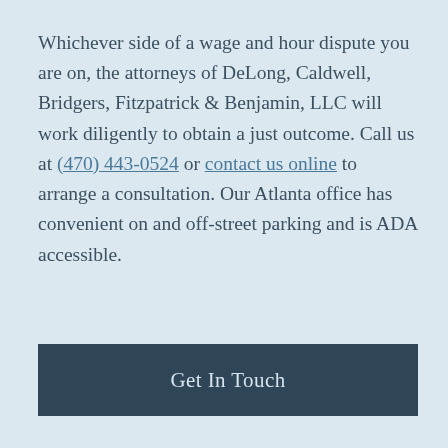Whichever side of a wage and hour dispute you are on, the attorneys of DeLong, Caldwell, Bridgers, Fitzpatrick & Benjamin, LLC will work diligently to obtain a just outcome. Call us at (470) 443-0524 or contact us online to arrange a consultation. Our Atlanta office has convenient on and off-street parking and is ADA accessible.
Get In Touch